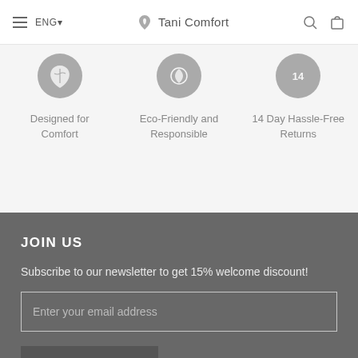ENG  Tani Comfort
[Figure (illustration): Three circular icons on a light grey background representing brand features: a leaf icon, a heart/plant icon, and a 14-day icon]
Designed for Comfort
Eco-Friendly and Responsible
14 Day Hassle-Free Returns
JOIN US
Subscribe to our newsletter to get 15% welcome discount!
Enter your email address
SUBSCRIBE